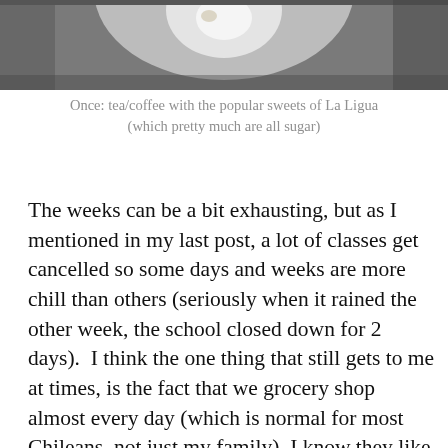[Figure (photo): Top portion of a photo showing a white plate/saucer with a cup, partially visible, with dark background]
Once: tea/coffee with the popular sweets of La Ligua (which pretty much are all sugar)
The weeks can be a bit exhausting, but as I mentioned in my last post, a lot of classes get cancelled so some days and weeks are more chill than others (seriously when it rained the other week, the school closed down for 2 days).  I think the one thing that still gets to me at times, is the fact that we grocery shop almost every day (which is normal for most Chileans, not just my family).  I know they like their bread fresh, but after a long day at work, I just want to go home.  It's always a family event going to the grocery store.  Everyone gets out of the car, we'll walk to one store to buy fresh bread, then walk to another for meat and cheese, sometimes even get gas or stop at an ATM, and then we go home.  No wonder they eat so late!  It takes patience.  My host mom mentioned